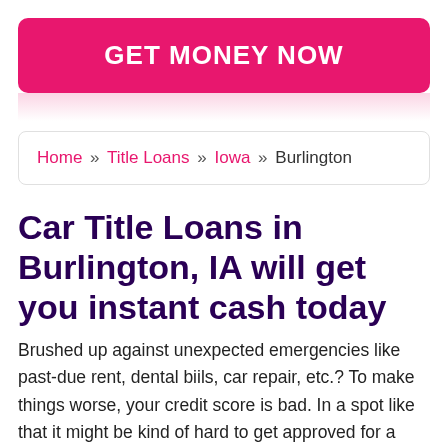GET MONEY NOW
Home » Title Loans » Iowa » Burlington
Car Title Loans in Burlington, IA will get you instant cash today
Brushed up against unexpected emergencies like past-due rent, dental biils, car repair, etc.? To make things worse, your credit score is bad. In a spot like that it might be kind of hard to get approved for a personal loan from a bank or credit union. An Auto title loan in Burlington, Iowa might